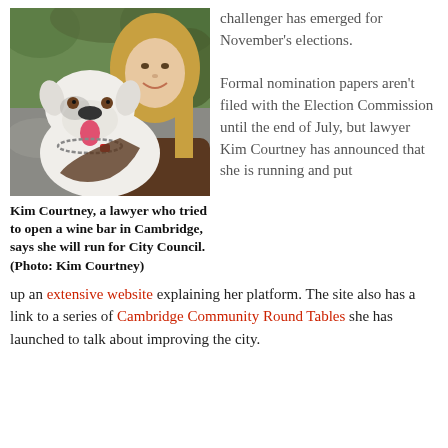[Figure (photo): Young woman with long blonde hair smiling and hugging a white pit bull dog with a chain collar and red tag, outdoors with foliage in background.]
Kim Courtney, a lawyer who tried to open a wine bar in Cambridge, says she will run for City Council. (Photo: Kim Courtney)
challenger has emerged for November's elections.

Formal nomination papers aren't filed with the Election Commission until the end of July, but lawyer Kim Courtney has announced that she is running and put up an extensive website explaining her platform. The site also has a link to a series of Cambridge Community Round Tables she has launched to talk about improving the city.